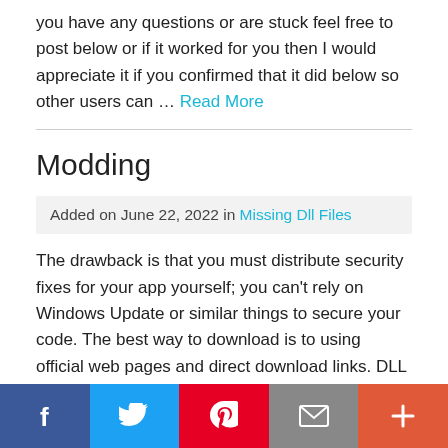you have any questions or are stuck feel free to post below or if it worked for you then I would appreciate it if you confirmed that it did below so other users can … Read More
Modding
Added on June 22, 2022 in Missing DLL Files
The drawback is that you must distribute security fixes for your app yourself; you can't rely on Windows Update or similar things to secure your code. The best way to download is to using official web pages and direct download links. DLL Hell can manifest itself in many different ways wherein applications neither launch nor work correctly. Well the only battery would be the bios
[Figure (infographic): Social sharing bar with five buttons: Facebook (dark blue), Twitter (light blue), Pinterest (red), Email (grey), More/Plus (orange-red)]